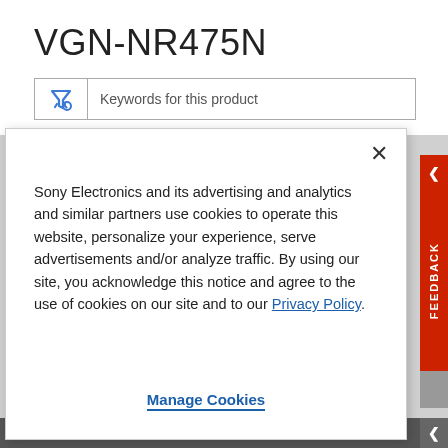VGN-NR475N
Keywords for this product
Sony Electronics and its advertising and analytics and similar partners use cookies to operate this website, personalize your experience, serve advertisements and/or analyze traffic. By using our site, you acknowledge this notice and agree to the use of cookies on our site and to our Privacy Policy.
Manage Cookies
many listed on this page, you can